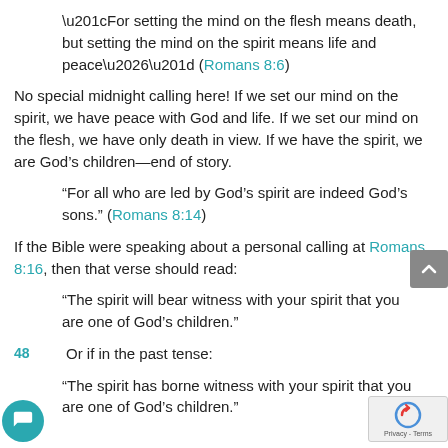“For setting the mind on the flesh means death, but setting the mind on the spirit means life and peace…” (Romans 8:6)
No special midnight calling here!  If we set our mind on the spirit, we have peace with God and life. If we set our mind on the flesh, we have only death in view.  If we have the spirit, we are God’s children—end of story.
“For all who are led by God’s spirit are indeed God’s sons.” (Romans 8:14)
If the Bible were speaking about a personal calling at Romans 8:16, then that verse should read:
“The spirit will bear witness with your spirit that you are one of God’s children.”
Or if in the past tense:
“The spirit has borne witness with your spirit that you are one of God’s children.”